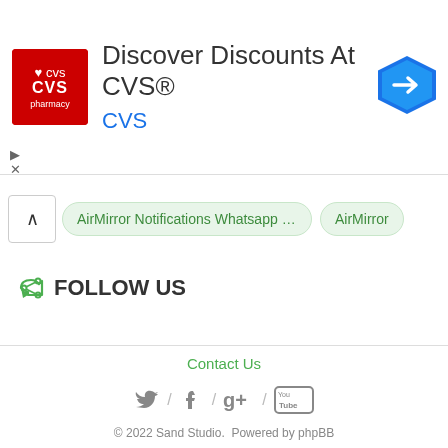[Figure (screenshot): CVS Pharmacy advertisement banner with logo, text 'Discover Discounts At CVS® CVS', and a blue navigation arrow icon]
AirMirror Notifications Whatsapp F... / AirMirror
FOLLOW US
Contact Us
[Figure (infographic): Social media icons: Twitter, Facebook, Google+, YouTube separated by slashes]
© 2022 Sand Studio. Powered by phpBB